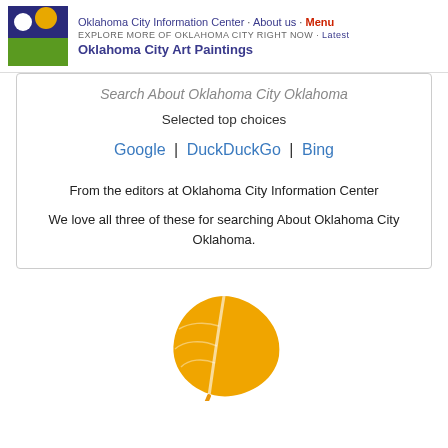Oklahoma City Information Center · About us · Menu | EXPLORE MORE OF OKLAHOMA CITY RIGHT NOW · Latest | Oklahoma City Art Paintings
Search About Oklahoma City Oklahoma
Selected top choices
Google | DuckDuckGo | Bing
From the editors at Oklahoma City Information Center
We love all three of these for searching About Oklahoma City Oklahoma.
[Figure (illustration): Orange leaf icon/logo]